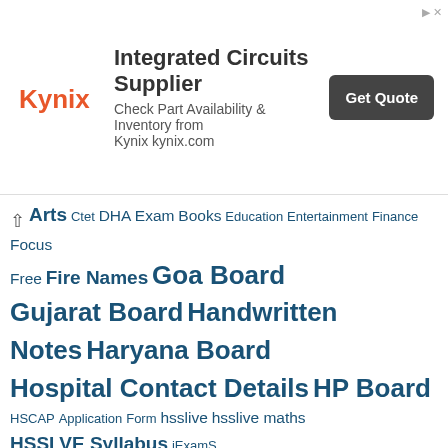[Figure (other): Advertisement banner for Kynix Integrated Circuits Supplier with logo, description text, and Get Quote button]
Arts Ctet DHA Exam Books Education Entertainment Finance Focus Free Fire Names Goa Board Gujarat Board Handwritten Notes Haryana Board Hospital Contact Details HP Board HSCAP Application Form hsslive hsslive maths HSSLVE Syllabus iExamS Improvement information J&K Board James Patterson Novels Jharkhand Board Kannada Novels Karnataka Kerala Syllabus Kerala Syllabus 6th Kerala Syllabus 7th Kerala Syllabus 8th Kerala Syllabus 9th Kite Victers Lifestyle Lucent Lyrics Maharashtra Board Malayalam Novels Manipur Board Map Marathi Novels Measurement Meghalaya Board mer Merit List Mizoram Board ML Aggarwal Class 10 Solutions ML Aggarwal Class 11 Solutions ML Aggarwal Class 12 Solutions ML Aggarwal Class 6 Solutions ML Aggarwal Class 7 Solutions ML Aggarwal Class 8 Solutions ML Aggarwal Class 9 Solutions MP Board Nagaland Board NCERT NEET Exam Nora Roberts Novels Novels Odisha Board Others Padasalai Paragraph PDF Books Percentage Calculator Phones Plus One Accountancy Chapters Plus One Answer Key Plus One Botany Chapters Plus One Business Studies